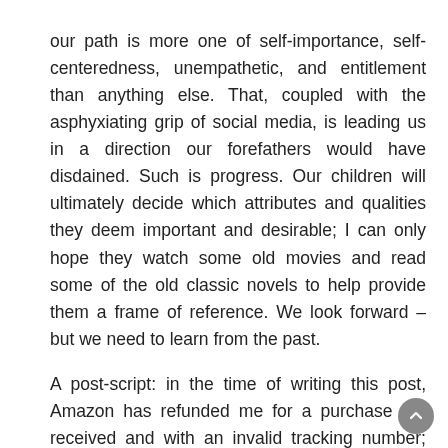our path is more one of self-importance, self-centeredness, unempathetic, and entitlement than anything else. That, coupled with the asphyxiating grip of social media, is leading us in a direction our forefathers would have disdained. Such is progress. Our children will ultimately decide which attributes and qualities they deem important and desirable; I can only hope they watch some old movies and read some of the old classic novels to help provide them a frame of reference. We look forward – but we need to learn from the past.
A post-script: in the time of writing this post, Amazon has refunded me for a purchase not received and with an invalid tracking number; the word “sorry” does not appear once in the entire email. How telling is that? Stay well dear reader!!